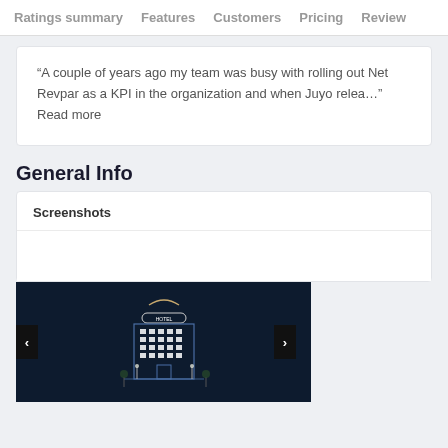Ratings summary   Features   Customers   Pricing   Review
“A couple of years ago my team was busy with rolling out Net Revpar as a KPI in the organization and when Juyo relea…” Read more
General Info
Screenshots
[Figure (screenshot): Dark-themed hotel building illustration/screenshot with navigation arrows on left and right sides]